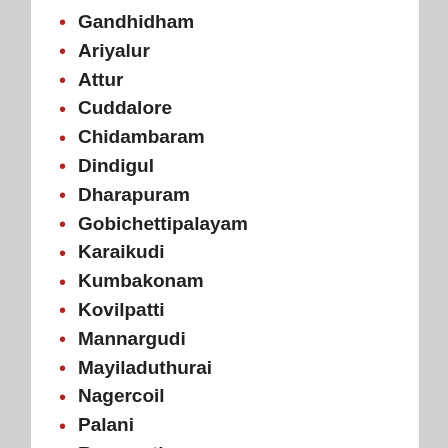Gandhidham
Ariyalur
Attur
Cuddalore
Chidambaram
Dindigul
Dharapuram
Gobichettipalayam
Karaikudi
Kumbakonam
Kovilpatti
Mannargudi
Mayiladuthurai
Nagercoil
Palani
Ramanathapuram
Shivakashi